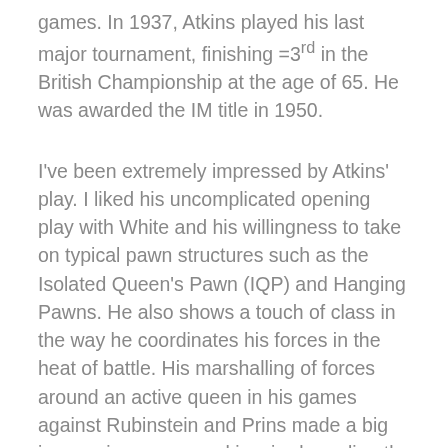games. In 1937, Atkins played his last major tournament, finishing =3rd in the British Championship at the age of 65. He was awarded the IM title in 1950.
I've been extremely impressed by Atkins' play. I liked his uncomplicated opening play with White and his willingness to take on typical pawn structures such as the Isolated Queen's Pawn (IQP) and Hanging Pawns. He also shows a touch of class in the way he coordinates his forces in the heat of battle. His marshalling of forces around an active queen in his games against Rubinstein and Prins made a big impression on me and inspired me directly in a tense game at the recent 4NCL weekend in March.